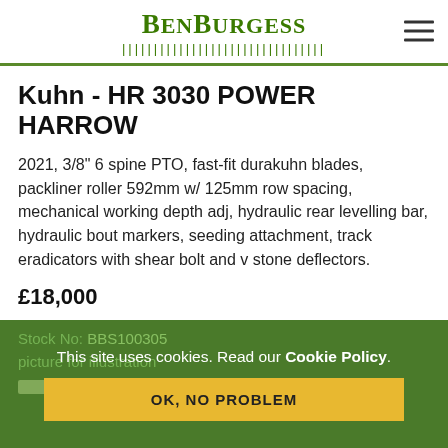[Figure (logo): BenBurgess green logo with grass/tree graphic underneath the text]
Kuhn - HR 3030 POWER HARROW
2021, 3/8" 6 spine PTO, fast-fit durakuhn blades, packliner roller 592mm w/ 125mm row spacing, mechanical working depth adj, hydraulic rear levelling bar, hydraulic bout markers, seeding attachment, track eradicators with shear bolt and v stone deflectors.
£18,000
Stock No: BBS100305
picture for illustration
This site uses cookies. Read our Cookie Policy.
OK, NO PROBLEM
Account  Cart 0  Wishlist 0  Search